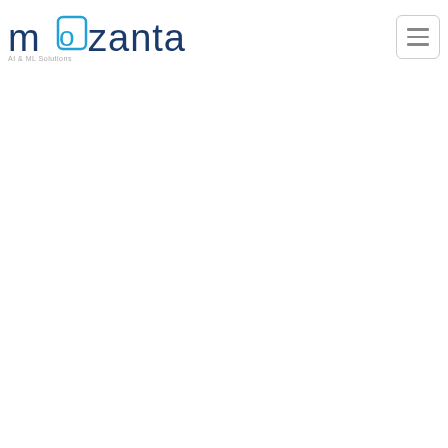[Figure (logo): Mozanta company logo with stylized 'o' in teal/blue and the rest in dark navy blue, with hamburger menu button in top right corner]